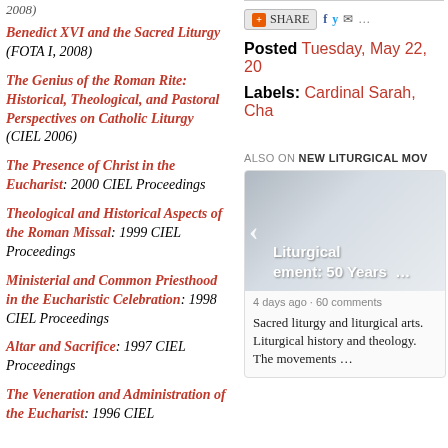2008)
Benedict XVI and the Sacred Liturgy (FOTA I, 2008)
The Genius of the Roman Rite: Historical, Theological, and Pastoral Perspectives on Catholic Liturgy (CIEL 2006)
The Presence of Christ in the Eucharist: 2000 CIEL Proceedings
Theological and Historical Aspects of the Roman Missal: 1999 CIEL Proceedings
Ministerial and Common Priesthood in the Eucharistic Celebration: 1998 CIEL Proceedings
Altar and Sacrifice: 1997 CIEL Proceedings
The Veneration and Administration of the Eucharist: 1996 CIEL
Posted Tuesday, May 22, 20
Labels: Cardinal Sarah, Cha
ALSO ON NEW LITURGICAL MOV
[Figure (screenshot): Card preview showing 'New Liturgical Movement: 50 Years ...' with arrow navigation, 4 days ago · 60 comments, and text: Sacred liturgy and liturgical arts. Liturgical history and theology. The movements …]